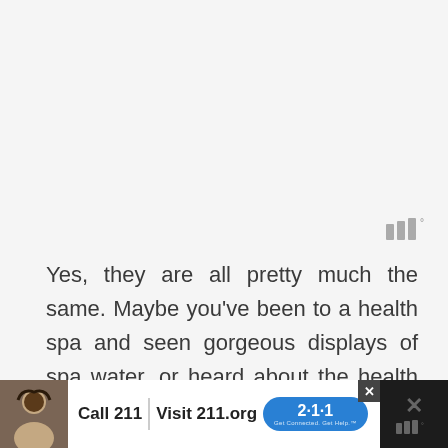[Figure (logo): Small stylized logo in gray, resembling stacked bars with a degree symbol]
Yes, they are all pretty much the same. Maybe you've been to a health spa and seen gorgeous displays of spa water, or heard about the health benefits of detox water. Like I said above, the biggest benefit of all is that these waters help
[Figure (infographic): Advertisement bar at bottom: Call 211 | Visit 211.org with 2-1-1 badge logo]